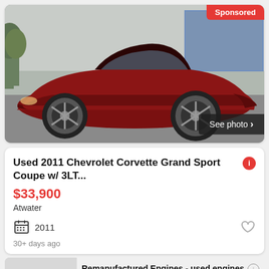[Figure (photo): Red 2011 Chevrolet Corvette Grand Sport Coupe photographed at a dealership parking lot, side/front angle view. A 'Sponsored' badge appears in the top-right corner and a 'See photo >' button appears at the bottom-right.]
Used 2011 Chevrolet Corvette Grand Sport Coupe w/ 3LT...
$33,900
Atwater
2011
30+ days ago
Remanufactured Engines - used engines near me
Ad https://www.rebuiltusedenginesmd.com/
We use computer-assisted technology to